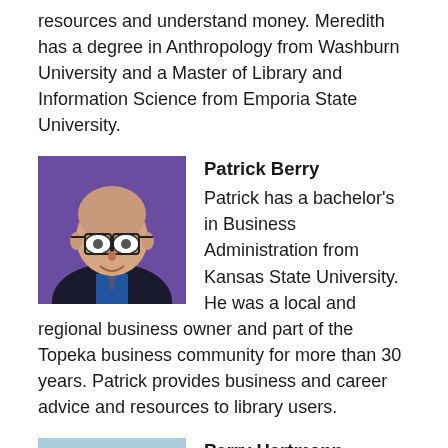resources and understand money. Meredith has a degree in Anthropology from Washburn University and a Master of Library and Information Science from Emporia State University.
[Figure (photo): Headshot of Patrick Berry, a bald man with glasses wearing a suit and tie against a purple background.]
Patrick Berry
Patrick has a bachelor's in Business Administration from Kansas State University. He was a local and regional business owner and part of the Topeka business community for more than 30 years. Patrick provides business and career advice and resources to library users.
[Figure (photo): Headshot of Perry Hartmann, a heavyset man with grey hair and glasses wearing a red shirt against a light blue background.]
Perry Hartmann
Perry has more than 10 years' experience conducting job interviews and evaluations of teachers and musicians. He has a degree in music education from Washburn